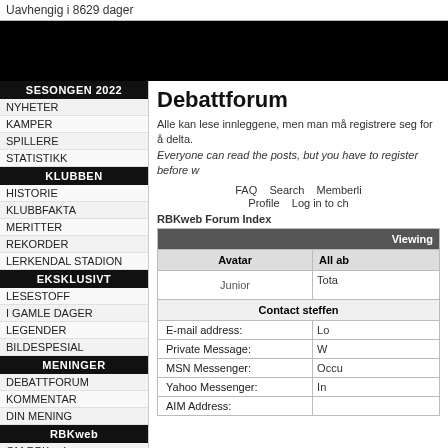Uavhengig i 8629 dager
[Figure (other): Black banner/header image area]
SESONGEN 2022
NYHETER
KAMPER
SPILLERE
STATISTIKK
KLUBBEN
HISTORIE
KLUBBFAKTA
MERITTER
REKORDER
LERKENDAL STADION
EKSKLUSIVT
LESESTOFF
I GAMLE DAGER
LEGENDER
BILDESPESIAL
MENINGER
DEBATTFORUM
KOMMENTAR
DIN MENING
RBKweb
OM RBKweb
ANNONSEINFORMASJON
RSS-KANAL
Debattforum
Alle kan lese innleggene, men man må registrere seg for å delta. Everyone can read the posts, but you have to register before w
FAQ  Search  Memberli  Profile  Log in to ch
RBKweb Forum Index
| Avatar | All ab | Viewing |
| --- | --- | --- |
| Junior | Tota |  |
| Contact steffen |  |  |
| E-mail address: | Lo |  |
| Private Message: | W |  |
| MSN Messenger: | Occu |  |
| Yahoo Messenger: | In |  |
| AIM Address: |  |  |